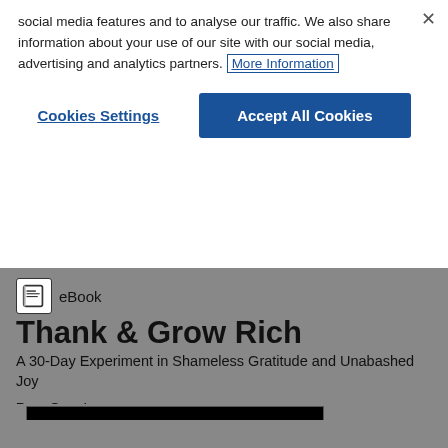social media features and to analyse our traffic. We also share information about your use of our site with our social media, advertising and analytics partners. More Information
Cookies Settings
Accept All Cookies
eBook
Thank & Grow Rich
A 30-Day Experiment in Shameless Gratitude and Unabashed Joy
Pam Grout
Be the first to review this product
[Figure (illustration): Book cover of Thank & Grow Rich showing the title in decorative letters on a black background]